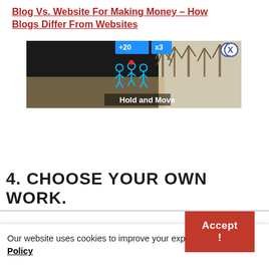Blog Vs. Website For Making Money – How Blogs Differ From Websites
[Figure (screenshot): Advertisement screenshot showing a dark gaming/app interface with 'Hold and Move' text, icons of people, score indicators (+20, x3), trees in background, and a close/question button overlay in top right corner.]
4. CHOOSE YOUR OWN WORK.
Our website uses cookies to improve your experience. Privacy Policy
Accept !